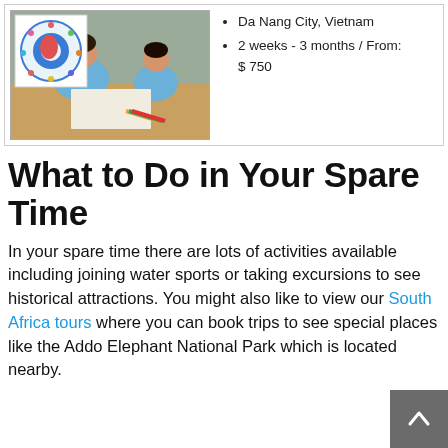[Figure (photo): Photo of children drawing/coloring at a table, with a colorful globe logo overlay in top-left corner]
Da Nang City, Vietnam
2 weeks - 3 months / From: $ 750
What to Do in Your Spare Time
In your spare time there are lots of activities available including joining water sports or taking excursions to see historical attractions. You might also like to view our South Africa tours where you can book trips to see special places like the Addo Elephant National Park which is located nearby.